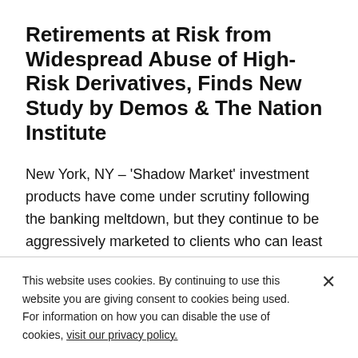Retirements at Risk from Widespread Abuse of High-Risk Derivatives, Finds New Study by Demos & The Nation Institute
New York, NY – 'Shadow Market' investment products have come under scrutiny following the banking meltdown, but they continue to be aggressively marketed to clients who can least afford the potentially catastrophic losses. Millions
This website uses cookies. By continuing to use this website you are giving consent to cookies being used. For information on how you can disable the use of cookies, visit our privacy policy.